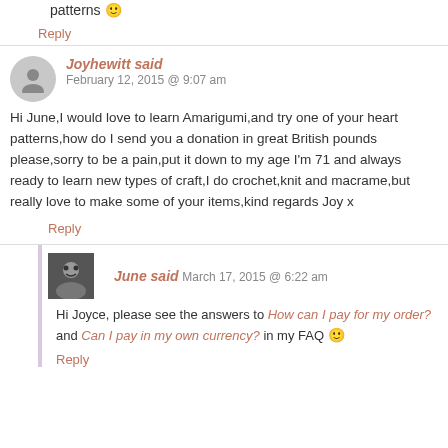patterns 🙂
Reply
Joyhewitt said
February 12, 2015 @ 9:07 am
Hi June,I would love to learn Amarigumi,and try one of your heart patterns,how do I send you a donation in great British pounds please,sorry to be a pain,put it down to my age I'm 71 and always ready to learn new types of craft,I do crochet,knit and macrame,but really love to make some of your items,kind regards Joy x
Reply
June said
March 17, 2015 @ 6:22 am
Hi Joyce, please see the answers to How can I pay for my order? and Can I pay in my own currency? in my FAQ 🙂
Reply